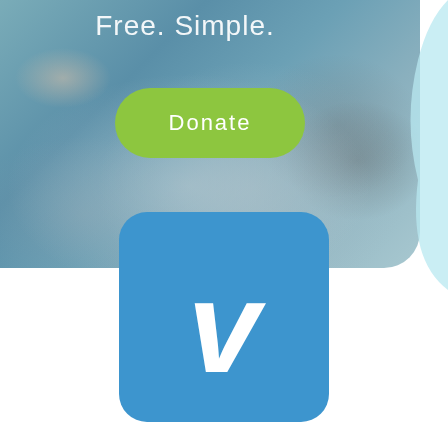[Figure (screenshot): Hospital/medical scene photo with blue overlay tint, showing a patient in a hospital bed with medical equipment. Text 'Free. Simple.' appears at top, and a green rounded 'Donate' button is centered over the image. A light blue curved accent shape appears on the right edge.]
[Figure (logo): Venmo app logo: blue rounded square with a white stylized letter V in italic bold font]